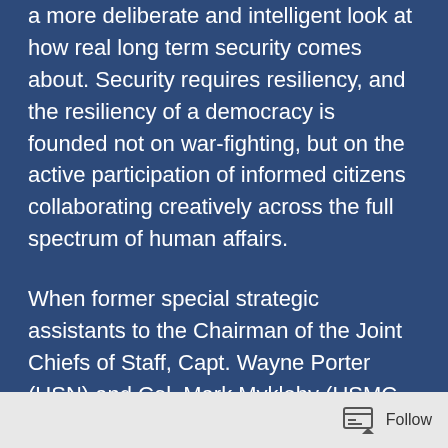a more deliberate and intelligent look at how real long term security comes about. Security requires resiliency, and the resiliency of a democracy is founded not on war-fighting, but on the active participation of informed citizens collaborating creatively across the full spectrum of human affairs.
When former special strategic assistants to the Chairman of the Joint Chiefs of Staff, Capt. Wayne Porter (USN) and Col. Mark Mykleby (USMC, ret.) set about crafting a “grand strategy” for the 21st century, they found that the old rules of force, power and control, no longer worked. Hundreds of years of military, political, scientific, philosophical, cultural and economic history, showed that we had finally moved beyond the primitive reality where small bands of people were well served by eliminating ambient
Follow